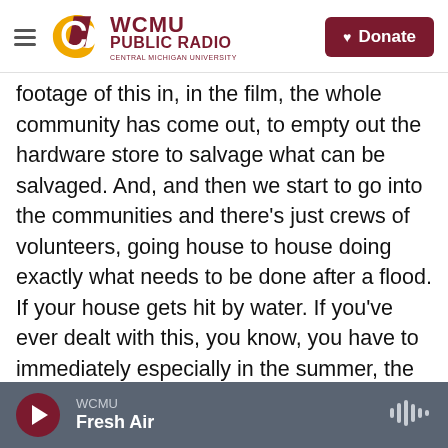WCMU PUBLIC RADIO CENTRAL MICHIGAN UNIVERSITY | Donate
footage of this in, in the film, the whole community has come out, to empty out the hardware store to salvage what can be salvaged. And, and then we start to go into the communities and there's just crews of volunteers, going house to house doing exactly what needs to be done after a flood. If your house gets hit by water. If you've ever dealt with this, you know, you have to immediately especially in the summer, the drywall has to come out the carpet has to come out anything that got wet has to be stripped within 48, 72 hours at the most or you've got a mold problem that can perhaps make that house unlivable forever. There are people
WCMU Fresh Air